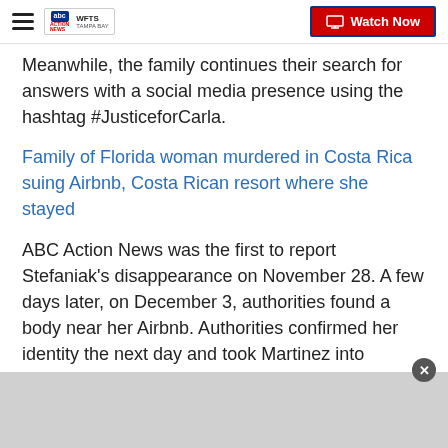WFTS Tampa Bay — Watch Now
Meanwhile, the family continues their search for answers with a social media presence using the hashtag #JusticeforCarla.
Family of Florida woman murdered in Costa Rica suing Airbnb, Costa Rican resort where she stayed
ABC Action News was the first to report Stefaniak's disappearance on November 28. A few days later, on December 3, authorities found a body near her Airbnb. Authorities confirmed her identity the next day and took Martinez into custody on December 4.
[Figure (other): Gray advertisement bar at the bottom with a close button (X).]